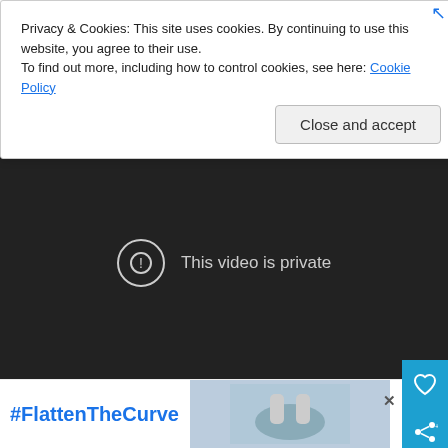Privacy & Cookies: This site uses cookies. By continuing to use this website, you agree to their use.
To find out more, including how to control cookies, see here: Cookie Policy
Close and accept
[Figure (screenshot): Video player showing 'This video is private' message with exclamation icon on dark background]
As an honest reviewer, my only critique of the product comes with the tripod stand. Having a stable camera is essential to the art of stop-motion animation and the stock tripod doesn't always fit the bill. The feet are made of hard, rounded plastic so the tripod has a tendency to slide and not stay in one place. I'd recommend pairing it with
[Figure (screenshot): Advertisement banner showing #FlattenTheCurve with hand washing image and Thermomix logo]